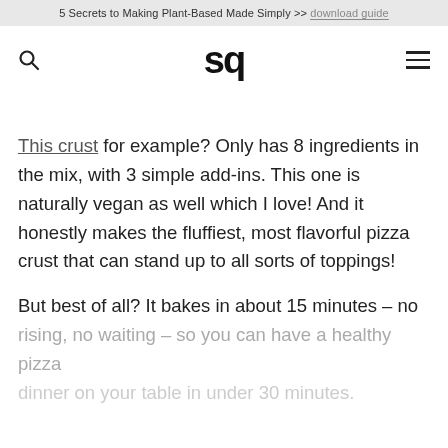5 Secrets to Making Plant-Based Made Simply >> download guide
[Figure (logo): Website navigation bar with search icon, 'sq' logo in bold, and hamburger menu icon]
This crust for example? Only has 8 ingredients in the mix, with 3 simple add-ins. This one is naturally vegan as well which I love! And it honestly makes the fluffiest, most flavorful pizza crust that can stand up to all sorts of toppings!
But best of all? It bakes in about 15 minutes – no rising, no waiting – so you can have a healthy pizza dinner on your table in under 30 minutes.